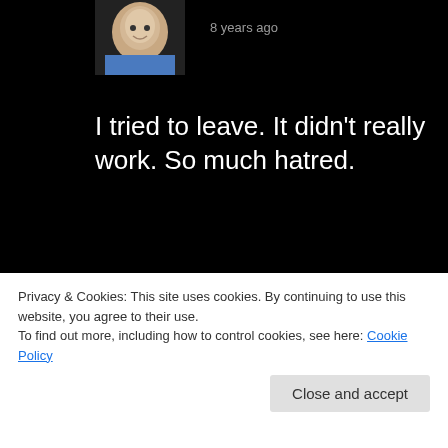[Figure (photo): User avatar photo of a smiling man in a blue shirt, partially cropped at top]
8 years ago
I tried to leave. It didn't really work. So much hatred.
★ Like
[Figure (illustration): Green pixel art avatar icon for user Patrick]
Patrick REPLY
8 years ago
It's cause you're blind with hate
Privacy & Cookies: This site uses cookies. By continuing to use this website, you agree to their use.
To find out more, including how to control cookies, see here: Cookie Policy
Close and accept